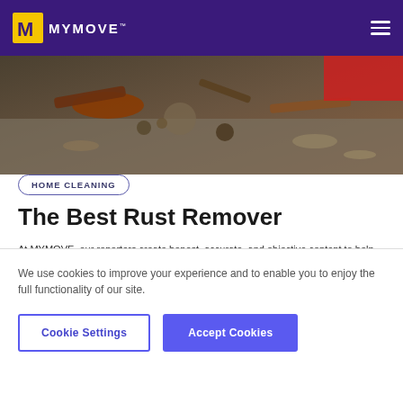MYMOVE
[Figure (photo): Close-up of rusty metal tools and hardware on a concrete surface with a red object in the background.]
HOME CLEANING
The Best Rust Remover
At MYMOVE, our reporters create honest, accurate, and objective content to help you make more informed decisions. To support our work, we are paid for providing advertising services. And this article may contain clickable links to advertisers' products or services and may result in us earning a fee.
We use cookies to improve your experience and to enable you to enjoy the full functionality of our site.
Cookie Settings
Accept Cookies